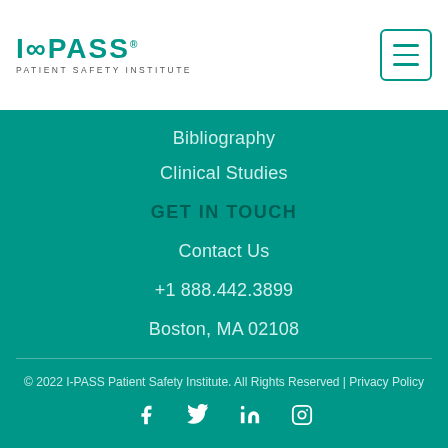I-PASS Patient Safety Institute
Bibliography
Clinical Studies
GET IN TOUCH
Contact Us
+1 888.442.3899
Boston, MA 02108
© 2022 I-PASS Patient Safety Institute. All Rights Reserved | Privacy Policy